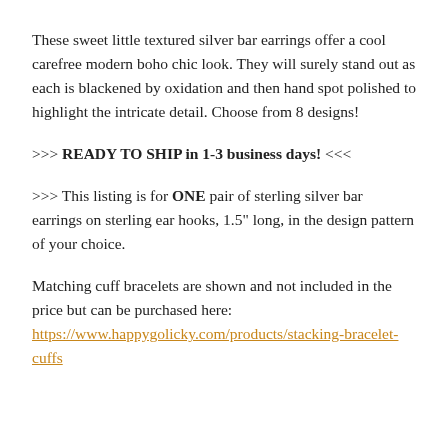These sweet little textured silver bar earrings offer a cool carefree modern boho chic look. They will surely stand out as each is blackened by oxidation and then hand spot polished to highlight the intricate detail. Choose from 8 designs!
>>> READY TO SHIP in 1-3 business days! <<<
>>> This listing is for ONE pair of sterling silver bar earrings on sterling ear hooks, 1.5" long, in the design pattern of your choice.
Matching cuff bracelets are shown and not included in the price but can be purchased here: https://www.happygolicky.com/products/stacking-bracelet-cuffs